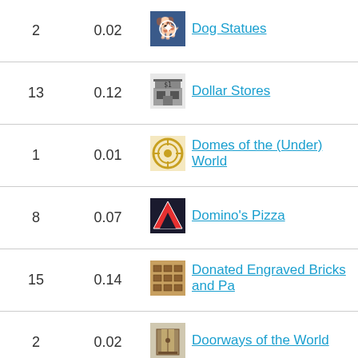| Count | Ratio | Category |
| --- | --- | --- |
| 2 | 0.02 | Dog Statues |
| 13 | 0.12 | Dollar Stores |
| 1 | 0.01 | Domes of the (Under) World |
| 8 | 0.07 | Domino's Pizza |
| 15 | 0.14 | Donated Engraved Bricks and Pa... |
| 2 | 0.02 | Doorways of the World |
| 2 | 0.02 | Doves of peace |
| 3 | 0.03 | Dr. Martin Luther King, Jr. |
| 3 | 0.03 | Draw Wells |